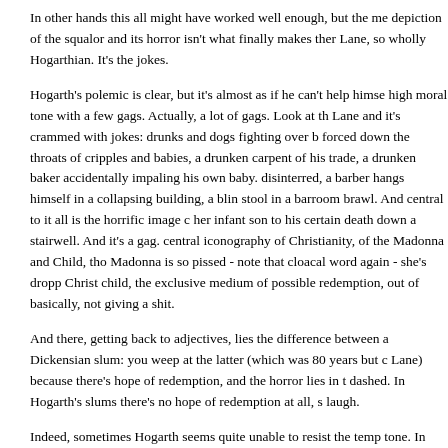In other hands this all might have worked well enough, but the me depiction of the squalor and its horror isn't what finally makes ther Lane, so wholly Hogarthian. It's the jokes.
Hogarth's polemic is clear, but it's almost as if he can't help himse high moral tone with a few gags. Actually, a lot of gags. Look at th Lane and it's crammed with jokes: drunks and dogs fighting over b forced down the throats of cripples and babies, a drunken carpent of his trade, a drunken baker accidentally impaling his own baby. disinterred, a barber hangs himself in a collapsing building, a blin stool in a barroom brawl. And central to it all is the horrific image c her infant son to his certain death down a stairwell. And it's a gag. central iconography of Christianity, of the Madonna and Child, tho Madonna is so pissed - note that cloacal word again - she's dropp Christ child, the exclusive medium of possible redemption, out of basically, not giving a shit.
And there, getting back to adjectives, lies the difference between a Dickensian slum: you weep at the latter (which was 80 years but c Lane) because there's hope of redemption, and the horror lies in t dashed. In Hogarth's slums there's no hope of redemption at all, s laugh.
Indeed, sometimes Hogarth seems quite unable to resist the temp tone. In Plate 8 of the polemical and frankly preachy series "Indus